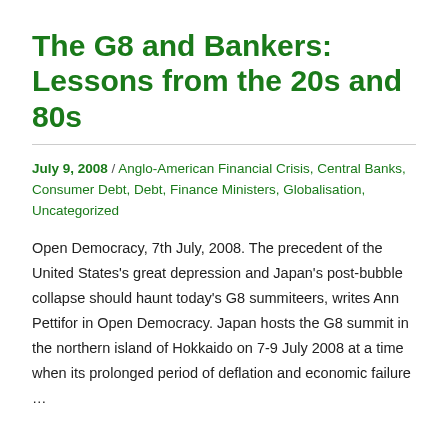The G8 and Bankers: Lessons from the 20s and 80s
July 9, 2008 / Anglo-American Financial Crisis, Central Banks, Consumer Debt, Debt, Finance Ministers, Globalisation, Uncategorized
Open Democracy, 7th July, 2008. The precedent of the United States's great depression and Japan's post-bubble collapse should haunt today's G8 summiteers, writes Ann Pettifor in Open Democracy. Japan hosts the G8 summit in the northern island of Hokkaido on 7-9 July 2008 at a time when its prolonged period of deflation and economic failure ...